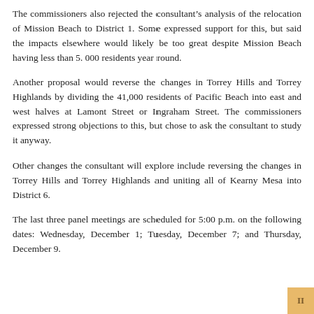The commissioners also rejected the consultant's analysis of the relocation of Mission Beach to District 1. Some expressed support for this, but said the impacts elsewhere would likely be too great despite Mission Beach having less than 5. 000 residents year round.
Another proposal would reverse the changes in Torrey Hills and Torrey Highlands by dividing the 41,000 residents of Pacific Beach into east and west halves at Lamont Street or Ingraham Street. The commissioners expressed strong objections to this, but chose to ask the consultant to study it anyway.
Other changes the consultant will explore include reversing the changes in Torrey Hills and Torrey Highlands and uniting all of Kearny Mesa into District 6.
The last three panel meetings are scheduled for 5:00 p.m. on the following dates: Wednesday, December 1; Tuesday, December 7; and Thursday, December 9.